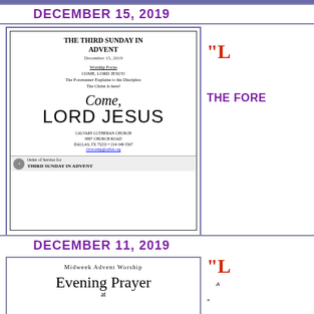DECEMBER 15, 2019
[Figure (illustration): Church bulletin cover for The Third Sunday in Advent, December 15, 2019. Shows 'Come, LORD JESUS' text with Calvary Lutheran Church details.]
"L...
THE FORE...
DECEMBER 11, 2019
[Figure (illustration): Bulletin for Midweek Advent Worship - Evening Prayer at...]
"L...